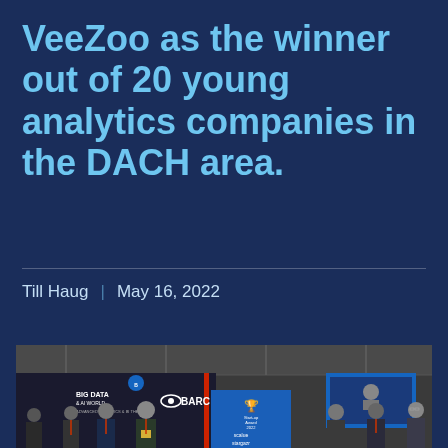VeeZoo as the winner out of 20 young analytics companies in the DACH area.
Till Haug | May 16, 2022
[Figure (photo): Group photo at Big Data & AI World conference event with BARC Advanced Analytics & BI Theatre banner. Several people standing in front of a Start-up Award 2022 display with scalue and stargazr logos visible.]